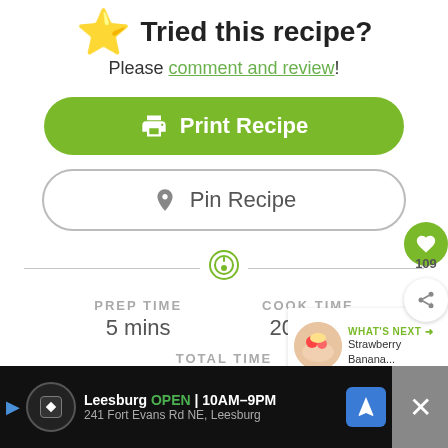Tried this recipe?
Please comment and review!
Print Recipe
Pin Recipe
PREP TIME 5 mins
COOK TIME 20 mins
TOTAL TIME 25 mins
[Figure (screenshot): What's Next panel showing Strawberry Banana... with food image]
Leesburg OPEN 10AM-9PM 241 Fort Evans Rd NE, Leesburg